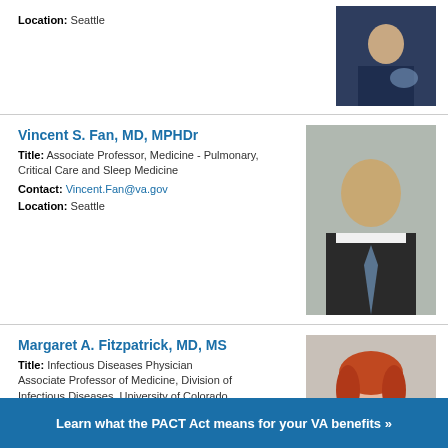Location: Seattle
Vincent S. Fan, MD, MPHDr
Title: Associate Professor, Medicine - Pulmonary, Critical Care and Sleep Medicine
Contact: Vincent.Fan@va.gov
Location: Seattle
[Figure (photo): Professional headshot of Vincent S. Fan in a dark suit with striped tie]
Margaret A. Fitzpatrick, MD, MS
Title: Infectious Diseases Physician Associate Professor of Medicine, Division of Infectious Diseases, University of Colorado
Contact: margaret.fitzpatrick@va.gov
Location: Denver
[Figure (photo): Professional headshot of Margaret A. Fitzpatrick in a white lab coat]
Learn what the PACT Act means for your VA benefits »